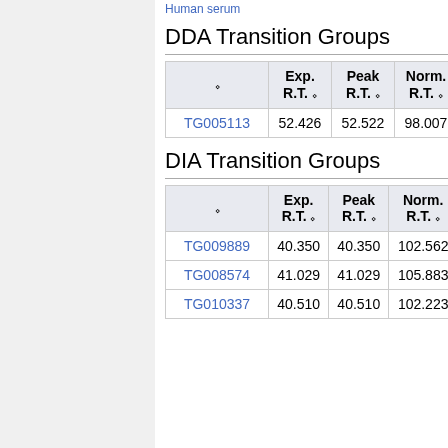DDA Transition Groups
|  | Exp. R.T. | Peak R.T. | Norm. R.T. |
| --- | --- | --- | --- |
| TG005113 | 52.426 | 52.522 | 98.007 |
DIA Transition Groups
|  | Exp. R.T. | Peak R.T. | Norm. R.T. |
| --- | --- | --- | --- |
| TG009889 | 40.350 | 40.350 | 102.562 |
| TG008574 | 41.029 | 41.029 | 105.883 |
| TG010337 | 40.510 | 40.510 | 102.223 |